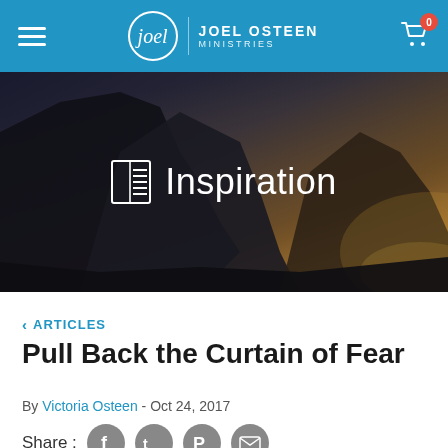Joel Osteen Ministries
[Figure (photo): Dark mountain landscape with sunlight/golden glow on right side, used as hero banner background]
Inspiration
< ARTICLES
Pull Back the Curtain of Fear
By Victoria Osteen - Oct 24, 2017
Share :